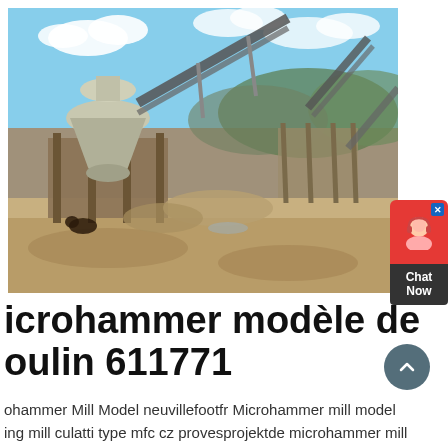[Figure (photo): Outdoor industrial mining/crushing plant with conveyor belts, a large cone crusher on a metal frame platform, and various machinery on a sandy/dusty site with hills and clouds in the background.]
microhammer modèle de moulin 611771
ohammer Mill Model neuvillefootfr Microhammer mill model ing mill culatti type mfc cz provesprojektde microhammer mill